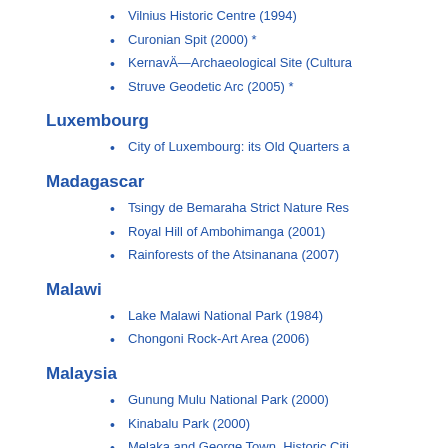Vilnius Historic Centre (1994)
Curonian Spit (2000) *
KernavÄ—Archaeological Site (Cultural)
Struve Geodetic Arc (2005) *
Luxembourg
City of Luxembourg: its Old Quarters a
Madagascar
Tsingy de Bemaraha Strict Nature Res
Royal Hill of Ambohimanga (2001)
Rainforests of the Atsinanana (2007)
Malawi
Lake Malawi National Park (1984)
Chongoni Rock-Art Area (2006)
Malaysia
Gunung Mulu National Park (2000)
Kinabalu Park (2000)
Melaka and George Town, Historic Citi
Mali
Old Trus of Djenné (1988)